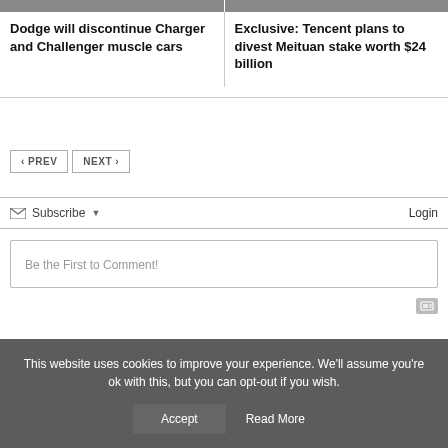[Figure (photo): Two cropped article thumbnail images at top, left and right columns]
Dodge will discontinue Charger and Challenger muscle cars
Exclusive: Tencent plans to divest Meituan stake worth $24 billion
< PREV
NEXT >
Subscribe ▾
Login
Be the First to Comment!
This website uses cookies to improve your experience. We'll assume you're ok with this, but you can opt-out if you wish.
Accept
Read More